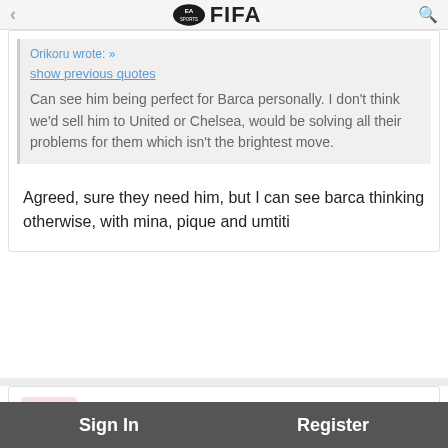EA SPORTS FIFA
Orikoru wrote: »
show previous quotes
Can see him being perfect for Barca personally. I don't think we'd sell him to United or Chelsea, would be solving all their problems for them which isn't the brightest move.
Agreed, sure they need him, but I can see barca thinking otherwise, with mina, pique and umtiti
Pughy30
February 2018
We got AC Milan in the Europa not the toughest match up but they'll still beat us
Pughy30
February 2018
Sign In    Register